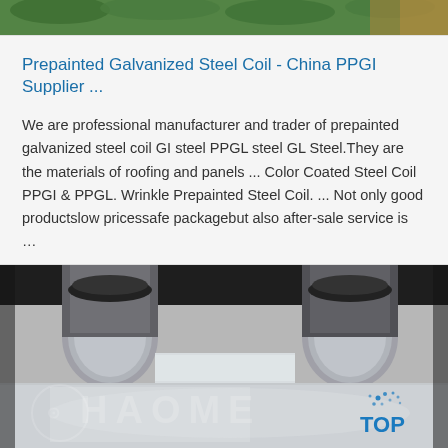[Figure (photo): Top partial image of what appears to be green leaves or foliage with wooden elements]
Prepainted Galvanized Steel Coil - China PPGI Supplier ...
We are professional manufacturer and trader of prepainted galvanized steel coil GI steel PPGL steel GL Steel.They are the materials of roofing and panels ... Color Coated Steel Coil PPGI & PPGL. Wrinkle Prepainted Steel Coil. ... Not only good productslow pricessafe packagebut also after-sale service is …
Get Price
[Figure (photo): Industrial photo of steel coil rolling/processing machinery with large metallic rollers and reflective steel sheet, watermarked with HAOME and a blue TOP logo]